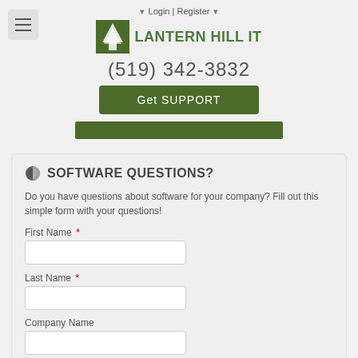[Figure (logo): Lantern Hill IT logo with tree icon]
Login | Register
(519) 342-3832
Get SUPPORT
SOFTWARE QUESTIONS?
Do you have questions about software for your company? Fill out this simple form with your questions!
First Name *
Last Name *
Company Name